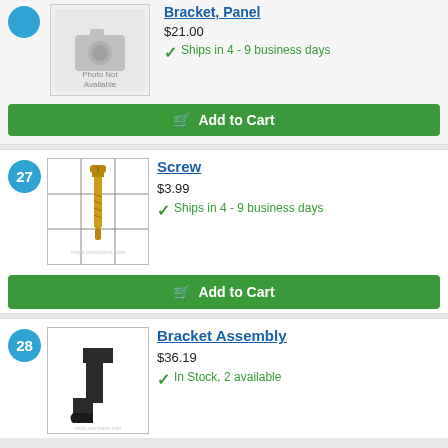Bracket, Panel
$21.00
Ships in 4 - 9 business days
Add to Cart
27
[Figure (photo): Photo of a brass screw on a grid background]
Screw
$3.99
Ships in 4 - 9 business days
Add to Cart
28
[Figure (photo): Photo of a black bracket assembly part]
Bracket Assembly
$36.19
In Stock, 2 available